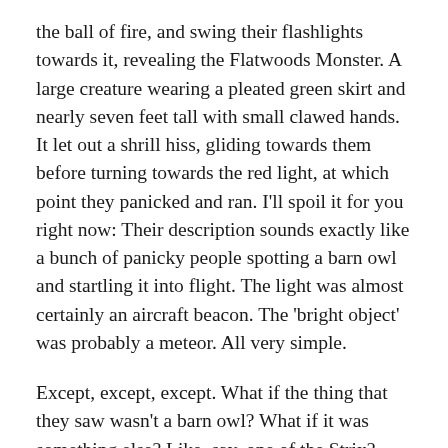the ball of fire, and swing their flashlights towards it, revealing the Flatwoods Monster. A large creature wearing a pleated green skirt and nearly seven feet tall with small clawed hands. It let out a shrill hiss, gliding towards them before turning towards the red light, at which point they panicked and ran. I'll spoil it for you right now: Their description sounds exactly like a bunch of panicky people spotting a barn owl and startling it into flight. The light was almost certainly an aircraft beacon. The 'bright object' was probably a meteor. All very simple.
Except, except, except. What if the thing that they saw wasn't a barn owl? What if it was something else? Like, say, one of the Strix? That's the fucking thing about this knowledge. How do you tell the hoaxes from the genuinely supernatural? How do